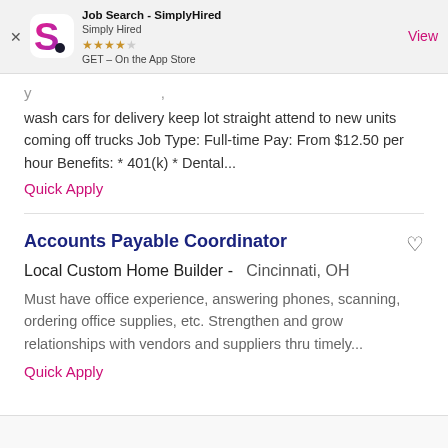[Figure (screenshot): App Store banner for Job Search - SimplyHired app showing logo, star rating, and View button]
wash cars for delivery keep lot straight attend to new units coming off trucks Job Type: Full-time Pay: From $12.50 per hour Benefits: * 401(k) * Dental...
Quick Apply
Accounts Payable Coordinator
Local Custom Home Builder -  Cincinnati, OH
Must have office experience, answering phones, scanning, ordering office supplies, etc. Strengthen and grow relationships with vendors and suppliers thru timely...
Quick Apply